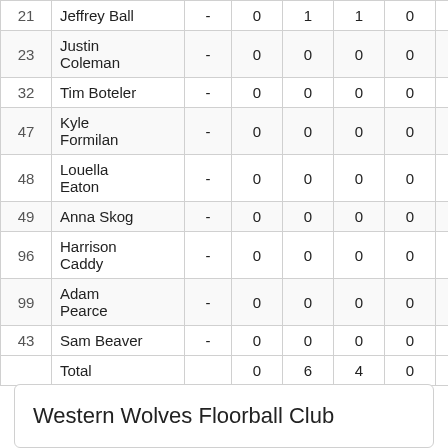| # | Name | - | 0 | 1 | 1 | 0 | 0 |
| --- | --- | --- | --- | --- | --- | --- | --- |
| 21 | Jeffrey Ball | - | 0 | 1 | 1 | 0 | 0 |
| 23 | Justin Coleman | - | 0 | 0 | 0 | 0 | 0 |
| 32 | Tim Boteler | - | 0 | 0 | 0 | 0 | 0 |
| 47 | Kyle Formilan | - | 0 | 0 | 0 | 0 | 0 |
| 48 | Louella Eaton | - | 0 | 0 | 0 | 0 | 0 |
| 49 | Anna Skog | - | 0 | 0 | 0 | 0 | 0 |
| 96 | Harrison Caddy | - | 0 | 0 | 0 | 0 | 0 |
| 99 | Adam Pearce | - | 0 | 0 | 0 | 0 | 0 |
| 43 | Sam Beaver | - | 0 | 0 | 0 | 0 | 0 |
|  | Total |  | 0 | 6 | 4 | 0 | 0 |
Western Wolves Floorball Club